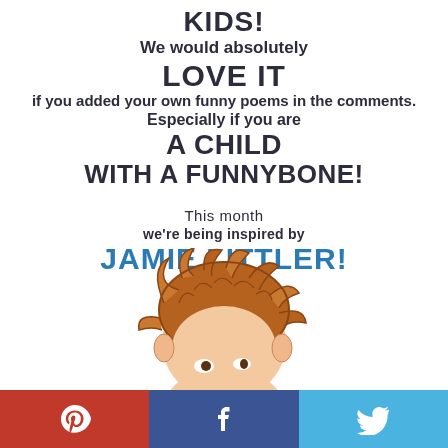KIDS!
We would absolutely
LOVE IT
if you added your own funny poems in the comments.
Especially if you are
A CHILD
WITH A FUNNYBONE!
This month
we're being inspired by
JAMIE LITTLER!
[Figure (illustration): Cartoon illustration of a child's head with messy brown hair, viewed from above/behind, peeking upward.]
[Figure (infographic): Social media share bar with Pinterest (red), Facebook (dark blue), and Twitter (light blue) buttons with white icons.]